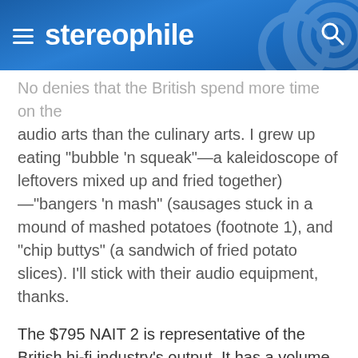stereophile
No denies that the British spend more time on the audio arts than the culinary arts. I grew up eating "bubble 'n squeak"—a kaleidoscope of leftovers mixed up and fried together)—"bangers 'n mash" (sausages stuck in a mound of mashed potatoes (footnote 1), and "chip buttys" (a sandwich of fried potato slices). I'll stick with their audio equipment, thanks.
The $795 NAIT 2 is representative of the British hi-fi industry's output. It has a volume control, selector, mute, and tape monitor switches, and not much else, not even a headphone output. It is also distinguished by its small, boxlike proportions and low power. (There is less demand for high power in